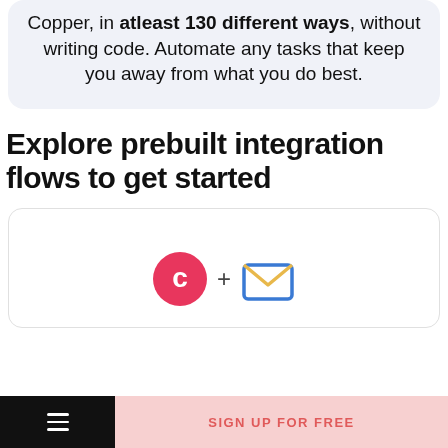Copper, in atleast 130 different ways, without writing code. Automate any tasks that keep you away from what you do best.
Explore prebuilt integration flows to get started
[Figure (infographic): Card showing Copper logo (pink circle with C) plus sign and an open envelope icon (blue outline)]
SIGN UP FOR FREE